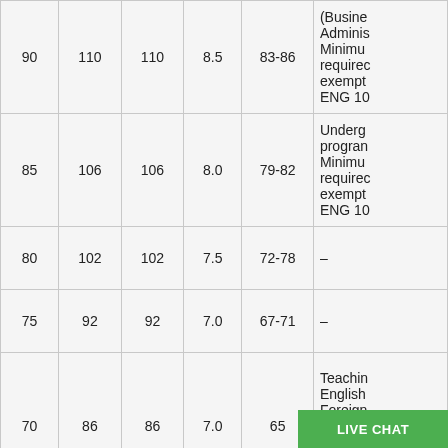|  |  |  |  |  |  |
| --- | --- | --- | --- | --- | --- |
| 90 | 110 | 110 | 8.5 | 83-86 | (Business Administration Minimum required exempt ENG 10 |
| 85 | 106 | 106 | 8.0 | 79-82 | Undergraduate programs Minimum required exempt ENG 10 |
| 80 | 102 | 102 | 7.5 | 72-78 | – |
| 75 | 92 | 92 | 7.0 | 67-71 | – |
| 70 | 86 | 86 | 7.0 | 65 | Teaching English Foreign Language Program Minimum required |